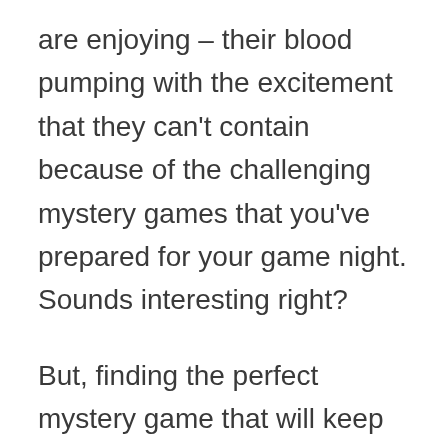are enjoying – their blood pumping with the excitement that they can't contain because of the challenging mystery games that you've prepared for your game night. Sounds interesting right?
But, finding the perfect mystery game that will keep your guests interested is a must-have to ensure that you'll all have fun and enjoy the night. Your mind may be boggling with questions